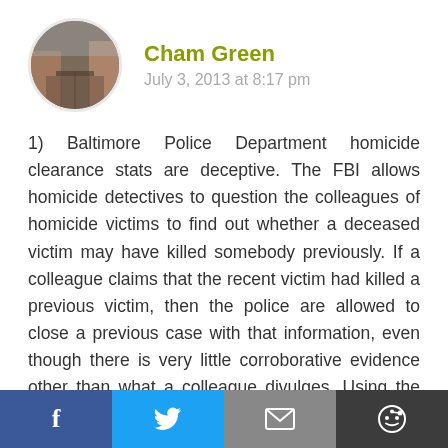[Figure (photo): Circular avatar photo of a street/alley scene with brick buildings]
Cham Green
July 3, 2013 at 8:17 pm
1) Baltimore Police Department homicide clearance stats are deceptive. The FBI allows homicide detectives to question the colleagues of homicide victims to find out whether a deceased victim may have killed somebody previously. If a colleague claims that the recent victim had killed a previous victim, then the police are allowed to close a previous case with that information, even though there is very little corroborative evidence other than what a colleague divulges. Using the rules of the Uniform Crime Report, this shifty case closure method is acceptable, however, morally ethically and maybe legally this type of case closing doesn't hold water. The Baltimore Police Department uses this clearance method in a good number
f  [Twitter bird]  [email icon]  [reddit icon]